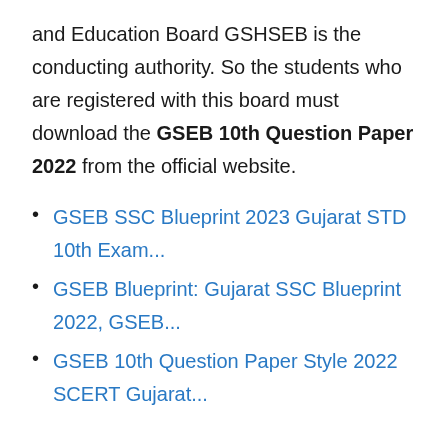and Education Board GSHSEB is the conducting authority. So the students who are registered with this board must download the GSEB 10th Question Paper 2022 from the official website.
GSEB SSC Blueprint 2023 Gujarat STD 10th Exam...
GSEB Blueprint: Gujarat SSC Blueprint 2022, GSEB...
GSEB 10th Question Paper Style 2022 SCERT Gujarat...